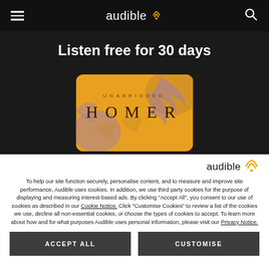audible
Listen free for 30 days
[Figure (illustration): Book cover for Homer (Unabridged) with golden/orange background and decorative Greek-style artwork with purple accents, showing text UNABRIDGED and HOMER]
[Figure (logo): Audible logo with orange WiFi-style signal icon in bottom right section]
To help our site function securely, personalise content, and to measure and improve site performance, Audible uses cookies. In addition, we use third party cookies for the purpose of displaying and measuring interest-based ads. By clicking "Accept All", you consent to our use of cookies as described in our Cookie Notice. Click "Customise Cookies" to review a list of the cookies we use, decline all non-essential cookies, or choose the types of cookies to accept. To learn more about how and for what purposes Audible uses personal information, please visit our Privacy Notice.
ACCEPT ALL
CUSTOMISE